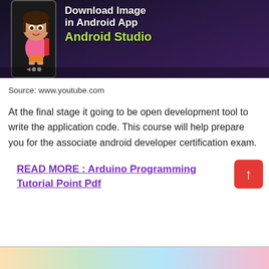[Figure (screenshot): YouTube video thumbnail showing 'Download Image in Android App Android Studio' with a cartoon character (Dora the Explorer) and a phone mockup on a dark purple background]
Source: www.youtube.com
At the final stage it going to be open development tool to write the application code. This course will help prepare you for the associate android developer certification exam.
READ MORE : Arduino Programming Tutorial Point Pdf